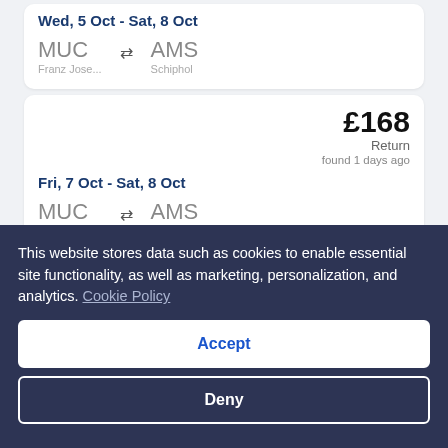Wed, 5 Oct - Sat, 8 Oct
MUC ↔ AMS — Franz Jose... / Schiphol
£168 Return found 1 days ago
Fri, 7 Oct - Sat, 8 Oct
MUC ↔ AMS — Franz Jose... / Schiphol
This website stores data such as cookies to enable essential site functionality, as well as marketing, personalization, and analytics. Cookie Policy
Accept
Deny